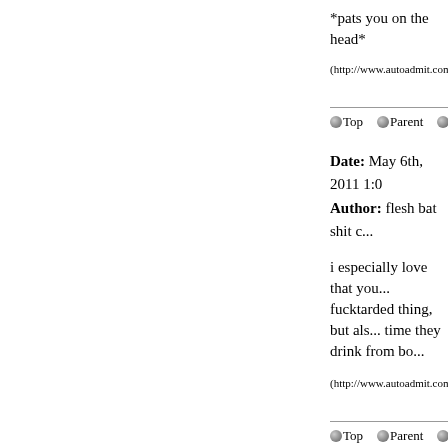*pats you on the head*
(http://www.autoadmit.com/thread.php...
Top  Parent  Reply
Date: May 6th, 2011 1:0
Author: flesh bat shit c...
i especially love that you... fucktarded thing, but als... time they drink from bo...
(http://www.autoadmit.com/thread.php...
Top  Parent ...
Date: May 6th, 20...
Author: Dark roo...